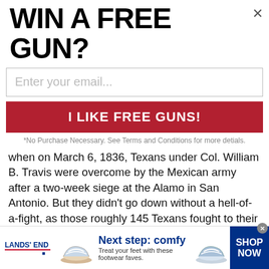WIN A FREE GUN?×
[Figure (screenshot): Email input field with placeholder 'Enter your email...']
[Figure (screenshot): Red button with text 'I LIKE FREE GUNS!']
*No Purchase Necessary. See Terms and Conditions for more detials.
when on March 6, 1836, Texans under Col. William B. Travis were overcome by the Mexican army after a two-week siege at the Alamo in San Antonio. But they didn't go down without a hell-of-a-fight, as those roughly 145 Texans fought to their dying breaths against more than 2,000 Mexican forces under Gen. Santa Anna. (Casualties in the battle were 189 Texans vs. about 1,600 Mexicans.) They lost that battle, but would provide the inspiration to win the war. Their fighting spirit rallied the new-found republic, and still does to this day. So when you think all is
[Figure (screenshot): Lands' End advertisement banner: 'Next step: comfy. Treat your feet with these footwear faves.' with sandal images and SHOP NOW button]